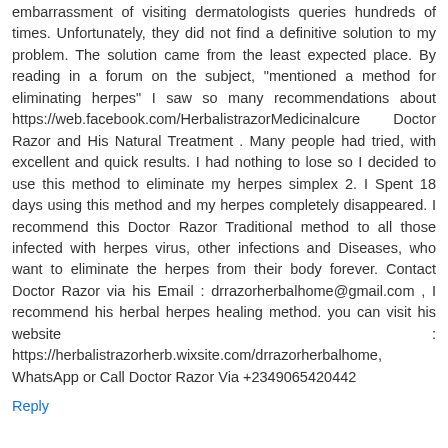embarrassment of visiting dermatologists queries hundreds of times. Unfortunately, they did not find a definitive solution to my problem. The solution came from the least expected place. By reading in a forum on the subject, "mentioned a method for eliminating herpes" I saw so many recommendations about https://web.facebook.com/HerbalistrazorMedicinalcure Doctor Razor and His Natural Treatment . Many people had tried, with excellent and quick results. I had nothing to lose so I decided to use this method to eliminate my herpes simplex 2. I Spent 18 days using this method and my herpes completely disappeared. I recommend this Doctor Razor Traditional method to all those infected with herpes virus, other infections and Diseases, who want to eliminate the herpes from their body forever. Contact Doctor Razor via his Email : drrazorherbalhome@gmail.com , I recommend his herbal herpes healing method. you can visit his website : https://herbalistrazorherb.wixsite.com/drrazorherbalhome, WhatsApp or Call Doctor Razor Via +2349065420442
Reply